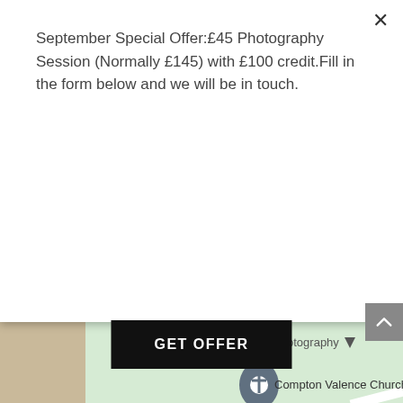September Special Offer:£45 Photography Session (Normally £145) with £100 credit.Fill in the form below and we will be in touch.
GET OFFER
[Figure (map): Google Maps screenshot showing Compton Valence Church area with Church Hill Ln and Tout Hill Ln roads visible on a green background with white roads.]